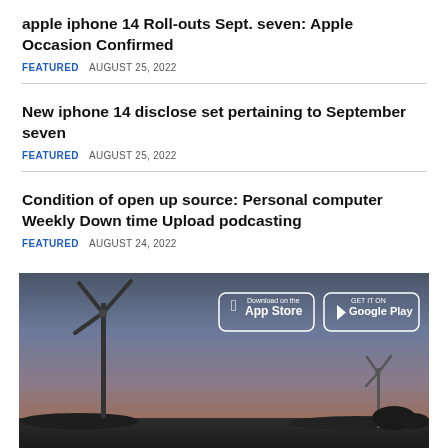apple iphone 14 Roll-outs Sept. seven: Apple Occasion Confirmed
FEATURED   AUGUST 25, 2022
New iphone 14 disclose set pertaining to September seven
FEATURED   AUGUST 25, 2022
Condition of open up source: Personal computer Weekly Down time Upload podcasting
FEATURED   AUGUST 24, 2022
[Figure (photo): Wind turbines against a dusky sky, with Download on the App Store and Get it on Google Play buttons overlaid in top right area]